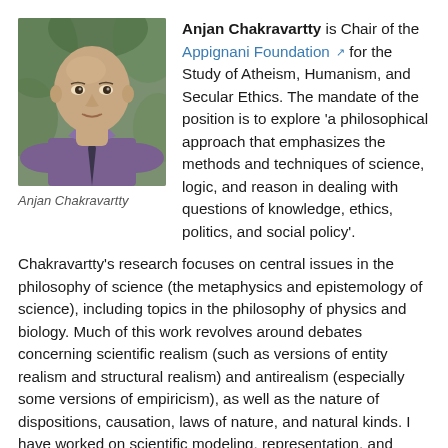[Figure (photo): Portrait photograph of Anjan Chakravartty, a bald man wearing a purple shirt and dark tie, with green foliage in the background.]
Anjan Chakravartty
Anjan Chakravartty is Chair of the Appignani Foundation for the Study of Atheism, Humanism, and Secular Ethics. The mandate of the position is to explore 'a philosophical approach that emphasizes the methods and techniques of science, logic, and reason in dealing with questions of knowledge, ethics, politics, and social policy'.
Chakravartty's research focuses on central issues in the philosophy of science (the metaphysics and epistemology of science), including topics in the philosophy of physics and biology. Much of this work revolves around debates concerning scientific realism (such as versions of entity realism and structural realism) and antirealism (especially some versions of empiricism), as well as the nature of dispositions, causation, laws of nature, and natural kinds. I have worked on scientific modeling, representation, and attendant issues such as the nature of abstraction and idealization, and the consequences these practices have for concepts such as knowledge and truth,